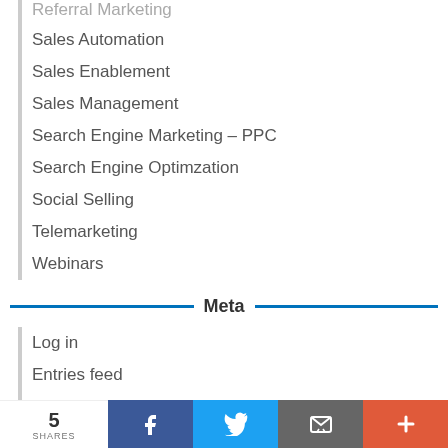Referral Marketing
Sales Automation
Sales Enablement
Sales Management
Search Engine Marketing – PPC
Search Engine Optimzation
Social Selling
Telemarketing
Webinars
Meta
Log in
Entries feed
Comments feed
5 SHARES